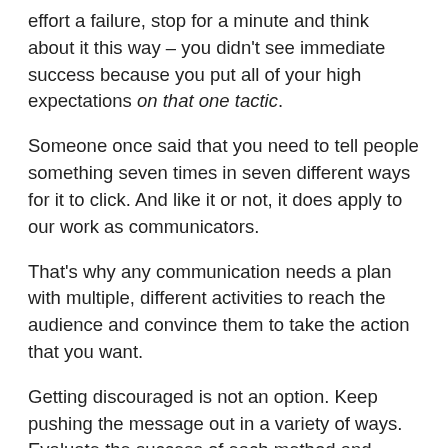effort a failure, stop for a minute and think about it this way – you didn't see immediate success because you put all of your high expectations on that one tactic.
Someone once said that you need to tell people something seven times in seven different ways for it to click. And like it or not, it does apply to our work as communicators.
That's why any communication needs a plan with multiple, different activities to reach the audience and convince them to take the action that you want.
Getting discouraged is not an option. Keep pushing the message out in a variety of ways. Evaluate the success of each method and adjust your plan as needed. Eventually, it will be heard.